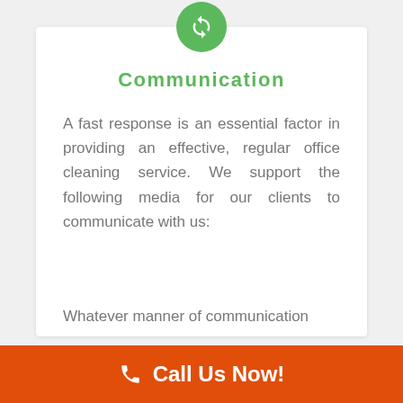[Figure (illustration): Green circular icon with two white refresh/sync arrows]
Communication
A fast response is an essential factor in providing an effective, regular office cleaning service. We support the following media for our clients to communicate with us:
Whatever manner of communication
[Figure (infographic): Orange call-to-action bar with phone icon and 'Call Us Now!' text]